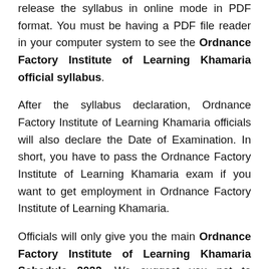release the syllabus in online mode in PDF format. You must be having a PDF file reader in your computer system to see the Ordnance Factory Institute of Learning Khamaria official syllabus.
After the syllabus declaration, Ordnance Factory Institute of Learning Khamaria officials will also declare the Date of Examination. In short, you have to pass the Ordnance Factory Institute of Learning Khamaria exam if you want to get employment in Ordnance Factory Institute of Learning Khamaria.
Officials will only give you the main Ordnance Factory Institute of Learning Khamaria Schedule 2022. We suggest you not to download Ordnance Factory Institute of Learning Khamaria Exam Program...